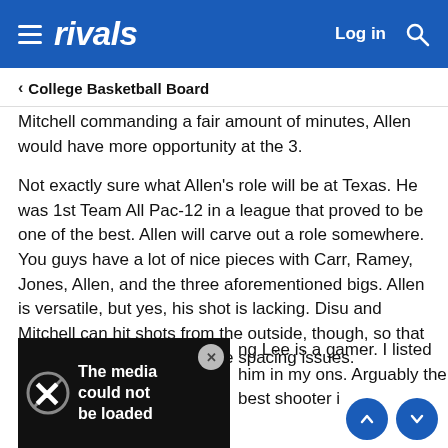rivals — Log in [search icon]
< College Basketball Board
Mitchell commanding a fair amount of minutes, Allen would have more opportunity at the 3.
Not exactly sure what Allen's role will be at Texas. He was 1st Team All Pac-12 in a league that proved to be one of the best. Allen will carve out a role somewhere. You guys have a lot of nice pieces with Carr, Ramey, Jones, Allen, and the three aforementioned bigs. Allen is versatile, but yes, his shot is lacking. Disu and Mitchell can hit shots from the outside, though, so that should help with some of the spacing issues.
[Figure (screenshot): Media overlay showing 'The media could not be loaded' message with X (Twitter) logo, close button, and partial text: 'ng Lee is a gamer. I listed him in my ons. Arguably the best shooter in...']